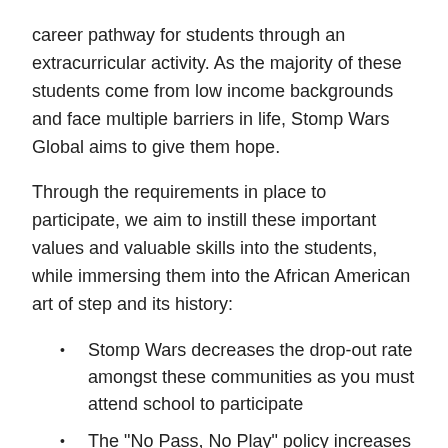career pathway for students through an extracurricular activity. As the majority of these students come from low income backgrounds and face multiple barriers in life, Stomp Wars Global aims to give them hope.
Through the requirements in place to participate, we aim to instill these important values and valuable skills into the students, while immersing them into the African American art of step and its history:
Stomp Wars decreases the drop-out rate amongst these communities as you must attend school to participate
The "No Pass, No Play" policy increases their academic achievement
The brother- and sisterhood and mentorship